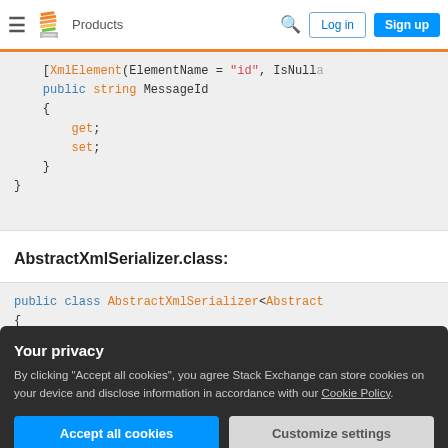Stack Overflow navigation: hamburger menu, logo, Products, search, Log in, Sign up
[Figure (screenshot): Code snippet showing C# XML element attribute and MessageId property with get/set accessors]
AbstractXmlSerializer.class:
[Figure (screenshot): Code snippet showing public class AbstractXmlSerializer<Abstract with private Dictionary<String, Type> typeMap declaration]
Your privacy
By clicking "Accept all cookies", you agree Stack Exchange can store cookies on your device and disclose information in accordance with our Cookie Policy.
Accept all cookies   Customize settings